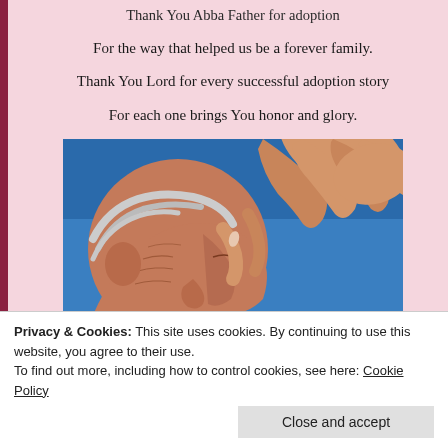Thank You Abba Father for adoption
For the way that helped us be a forever family.
Thank You Lord for every successful adoption story
For each one brings You honor and glory.
[Figure (photo): Close-up of an elderly person's face being touched by a hand, against a blue sky background]
Privacy & Cookies: This site uses cookies. By continuing to use this website, you agree to their use. To find out more, including how to control cookies, see here: Cookie Policy
Close and accept